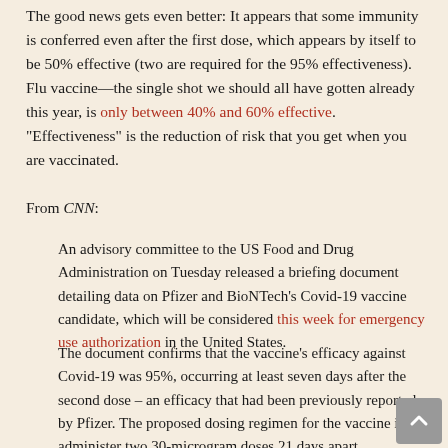The good news gets even better: It appears that some immunity is conferred even after the first dose, which appears by itself to be 50% effective (two are required for the 95% effectiveness). Flu vaccine—the single shot we should all have gotten already this year, is only between 40% and 60% effective. "Effectiveness" is the reduction of risk that you get when you are vaccinated.
From CNN:
An advisory committee to the US Food and Drug Administration on Tuesday released a briefing document detailing data on Pfizer and BioNTech's Covid-19 vaccine candidate, which will be considered this week for emergency use authorization in the United States.
The document confirms that the vaccine's efficacy against Covid-19 was 95%, occurring at least seven days after the second dose – an efficacy that had been previously reported by Pfizer. The proposed dosing regimen for the vaccine is to administer two 30-microgram doses 21 days apart.